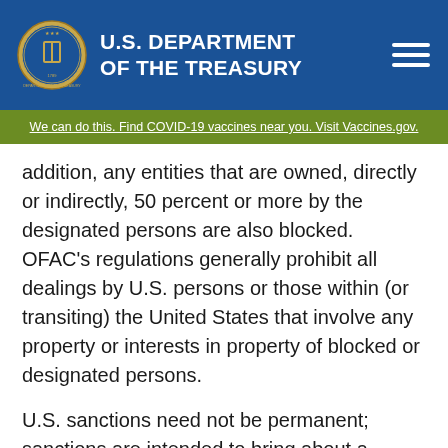U.S. DEPARTMENT OF THE TREASURY
We can do this. Find COVID-19 vaccines near you. Visit Vaccines.gov.
addition, any entities that are owned, directly or indirectly, 50 percent or more by the designated persons are also blocked. OFAC's regulations generally prohibit all dealings by U.S. persons or those within (or transiting) the United States that involve any property or interests in property of blocked or designated persons.
U.S. sanctions need not be permanent; sanctions are intended to bring about a positive change of behavior. The United States has made clear that the removal of sanctions may be available for individuals and entities, including those designated pursuant to E.O. 13692,